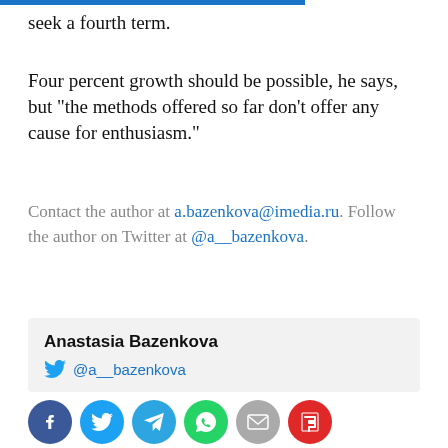seek a fourth term.
Four percent growth should be possible, he says, but "the methods offered so far don't offer any cause for enthusiasm."
Contact the author at a.bazenkova@imedia.ru. Follow the author on Twitter at @a__bazenkova.
Anastasia Bazenkova
@a__bazenkova
[Figure (infographic): Row of six social sharing icon buttons: Facebook (dark blue), Twitter (light blue), Telegram (sky blue), WhatsApp (green), Email (grey), Flipboard (red)]